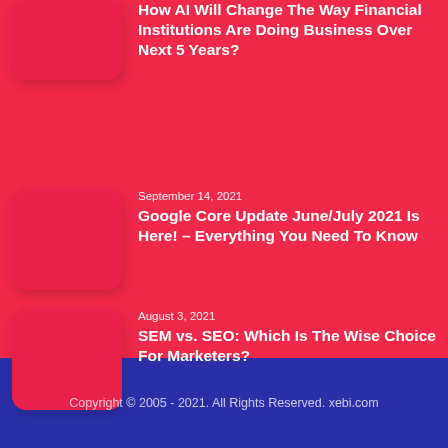How AI Will Change The Way Financial Institutions Are Doing Business Over Next 5 Years?
September 14, 2021
Google Core Update June/July 2021 Is Here! – Everything You Need To Know
August 3, 2021
SEM vs. SEO: Which Is The Wise Choice For Marketers?
Copyright © 2005 - 2021. All Rights Reserved. xebi.com